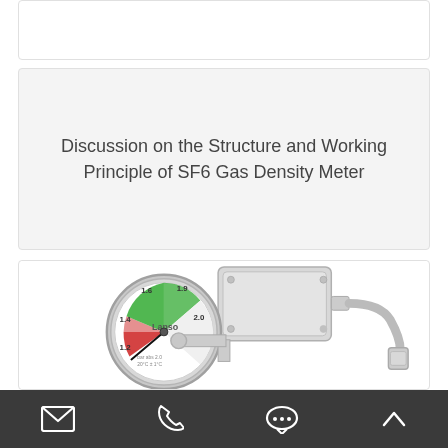Discussion on the Structure and Working Principle of SF6 Gas Density Meter
[Figure (photo): SF6 gas density meter with analog gauge showing colored zones (green, red, white) and numeric scale (1.2–2.0), connected to a metal housing/transmitter unit via curved pipe fitting]
Email | Phone | Chat | Up (navigation icons)